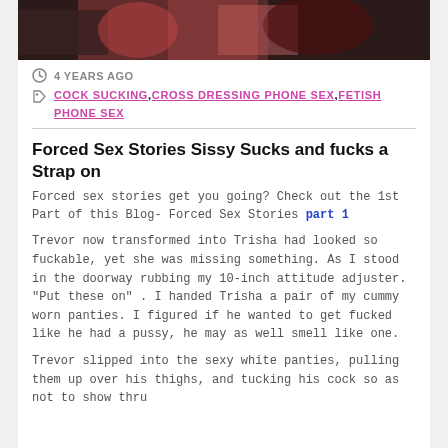[Figure (photo): Partial photo strip showing hands and colorful clothing at the top of the page]
4 YEARS AGO
COCK SUCKING,CROSS DRESSING PHONE SEX,FETISH PHONE SEX
Forced Sex Stories Sissy Sucks and fucks a Strap on
Forced sex stories get you going? Check out the 1st Part of this Blog- Forced Sex Stories part 1
Trevor now transformed into Trisha had looked so fuckable, yet she was missing something. As I stood in the doorway rubbing my 10-inch attitude adjuster. "Put these on" .  I handed Trisha a pair of my cummy worn panties. I figured if he wanted to get fucked like he had a pussy, he may as well smell like one.
Trevor slipped into the sexy white panties, pulling them up over his thighs, and tucking his cock so as not to show thru